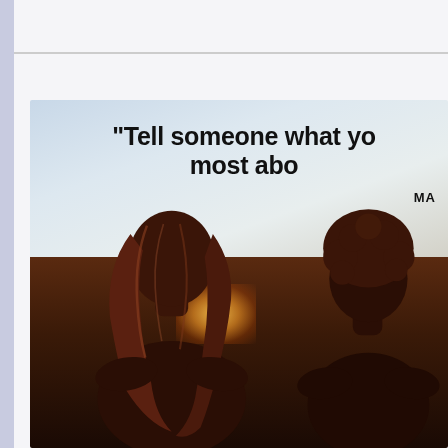[Figure (photo): Two people (seen from behind) sitting together outdoors with warm backlight/sunset glow. Overlaid with a quote: "Tell someone what yo... most abo..." and partial attribution starting with "MA"]